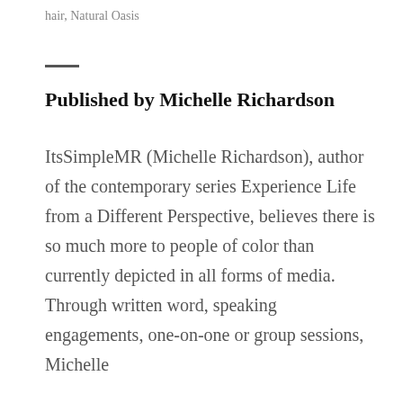hair, Natural Oasis
Published by Michelle Richardson
ItsSimpleMR (Michelle Richardson), author of the contemporary series Experience Life from a Different Perspective, believes there is so much more to people of color than currently depicted in all forms of media. Through written word, speaking engagements, one-on-one or group sessions, Michelle